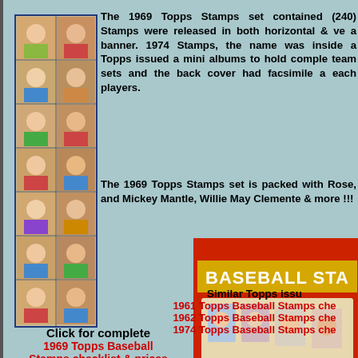[Figure (photo): Vertical strip of 1969 Topps Baseball Stamps showing player portrait photos in a two-column grid layout, with a dark blue border]
The 1969 Topps Stamps set contained (240) Stamps were released in both horizontal & vertical a banner. 1974 Stamps, the name was inside a Topps issued a mini albums to hold complete team sets and the back cover had facsimile a each players.
The 1969 Topps Stamps set is packed with Rose, and Mickey Mantle, Willie May Clemente & more !!!
Click for complete
1969 Topps Baseball
Stamps checklist & prices
[Figure (photo): Red box labeled BASEBALL STAMPS with baseball card stamps displayed in front of it]
Similar Topps issue
1961 Topps Baseball Stamps chec
1962 Topps Baseball Stamps chec
1974 Topps Baseball Stamps chec